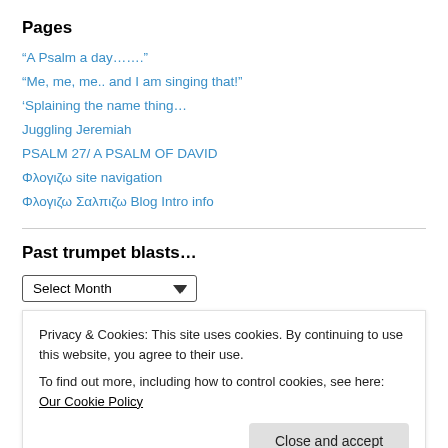Pages
“A Psalm a day…….”
“Me, me, me.. and I am singing that!”
‘Splaining the name thing…
Juggling Jeremiah
PSALM 27/ A PSALM OF DAVID
Φλογιζω site navigation
Φλογιζω Σαλπιζω Blog Intro info
Past trumpet blasts…
Select Month
Privacy & Cookies: This site uses cookies. By continuing to use this website, you agree to their use.
To find out more, including how to control cookies, see here: Our Cookie Policy
Close and accept
To shun the Son